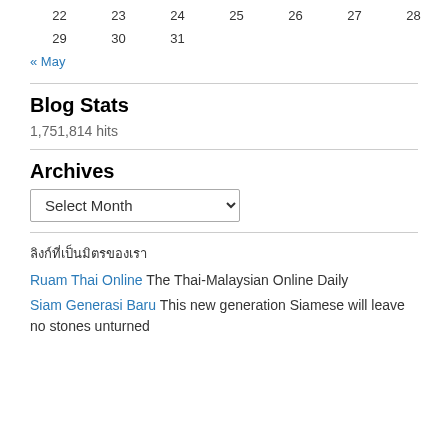| 22 | 23 | 24 | 25 | 26 | 27 | 28 |
| 29 | 30 | 31 |  |  |  |  |
« May
Blog Stats
1,751,814 hits
Archives
Select Month
ลิงก์ที่เป็นมิตร
Ruam Thai Online The Thai-Malaysian Online Daily
Siam Generasi Baru This new generation Siamese will leave no stones unturned